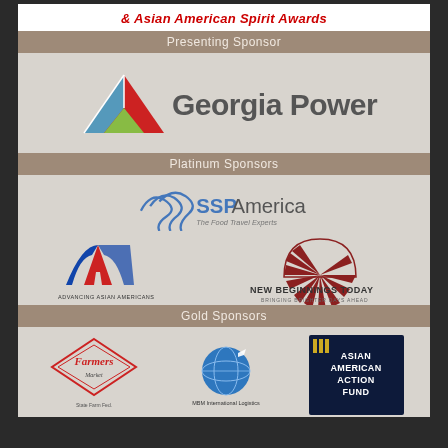& Asian American Spirit Awards
Presenting Sponsor
[Figure (logo): Georgia Power logo — red triangle with blue and green accents, large gray text 'Georgia Power']
Platinum Sponsors
[Figure (logo): SSP America logo — blue swirl/wave marks with 'SSP America The Food Travel Experts']
[Figure (logo): Advancing Asian Americans logo — red and blue stylized A with text 'ADVANCING ASIAN AMERICANS']
[Figure (logo): New Beginnings Today logo — dark red sun rays semicircle with text 'NEW BEGINNINGS TODAY BRINGING BRIGHTER DAYS AHEAD']
Gold Sponsors
[Figure (logo): Farmers Market logo — red diamond shape with 'Farmers' cursive script]
[Figure (logo): MBM International Logistics logo — globe with airplane and text]
[Figure (logo): Asian American Action Fund logo — dark navy background with 'ASIAN AMERICAN ACTION FUND' white text and yellow/gold striped emblem]